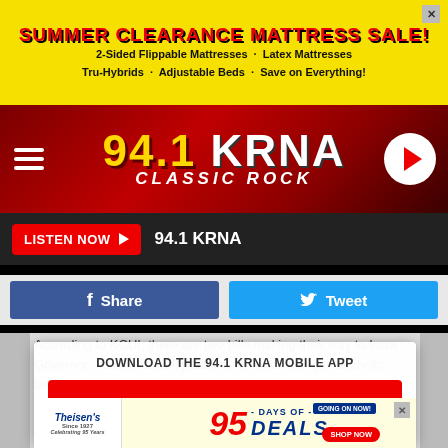[Figure (screenshot): Summer Clearance Mattress Sale advertisement banner with yellow background. Text: SUMMER CLEARANCE MATTRESS SALE! 2-Sided Flippable Mattresses · Latex Mattresses Tru-Hybrids · Adjustable Beds · Save on Everything!]
[Figure (logo): 94.1 KRNA Classic Rock radio station logo and navigation bar with hamburger menu and play button]
LISTEN NOW ▶  94.1 KRNA
Share   Tweet
According to KCUI, there are two bills making their way to Iowa Governor... could make it possible for Iowans to get alcoholic beverages delivered...
DOWNLOAD THE 94.1 KRNA MOBILE APP
GET OUR FREE MOBILE APP
Odd Couples: David Bowie and J...
[Figure (screenshot): Theisen's 95 Days of Deals advertisement banner at bottom]